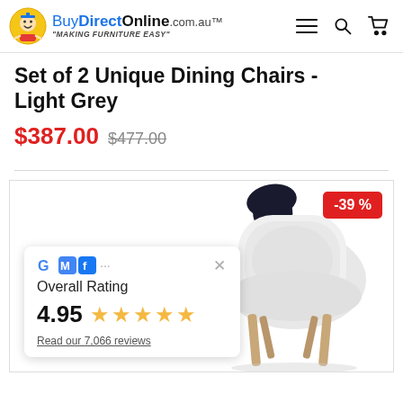BuyDirectOnline.com.au – MAKING FURNITURE EASY
Set of 2 Unique Dining Chairs - Light Grey
$387.00  $477.00
[Figure (photo): Light grey modern dining chair with wooden legs, shown from the back-side angle. A -39% discount badge is shown in the top-right corner. An overlay widget shows Overall Rating 4.95 stars (5 gold stars) and 'Read our 7,066 reviews' with Google, GMB, and Facebook logos.]